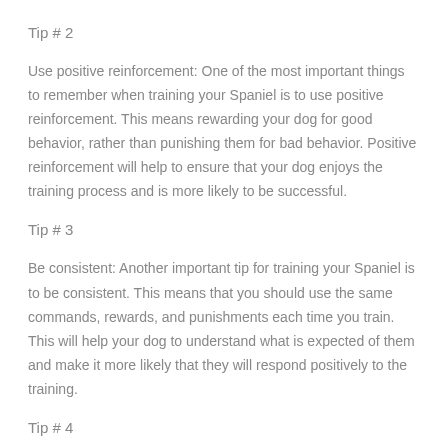Tip # 2
Use positive reinforcement: One of the most important things to remember when training your Spaniel is to use positive reinforcement. This means rewarding your dog for good behavior, rather than punishing them for bad behavior. Positive reinforcement will help to ensure that your dog enjoys the training process and is more likely to be successful.
Tip # 3
Be consistent: Another important tip for training your Spaniel is to be consistent. This means that you should use the same commands, rewards, and punishments each time you train. This will help your dog to understand what is expected of them and make it more likely that they will respond positively to the training.
Tip # 4